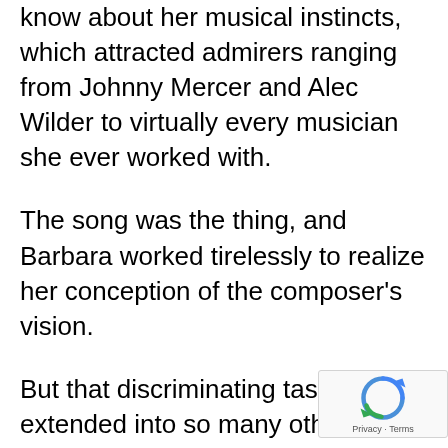know about her musical instincts, which attracted admirers ranging from Johnny Mercer and Alec Wilder to virtually every musician she ever worked with.
The song was the thing, and Barbara worked tirelessly to realize her conception of the composer's vision.
But that discriminating taste extended into so many other areas that I always wanted to know what Barbara thought about a play, a film, a politician, a musician, or virtually anything else.